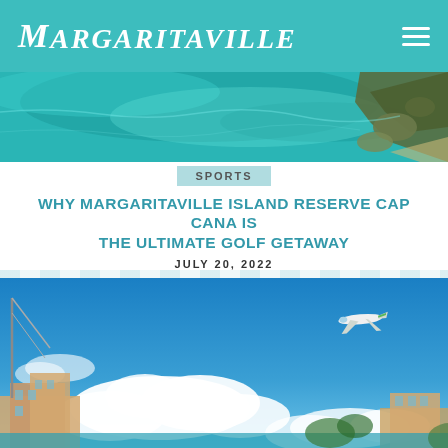MARGARITAVILLE
[Figure (photo): Aerial view of turquoise ocean water with rocky coastline and green vegetation]
SPORTS
WHY MARGARITAVILLE ISLAND RESERVE CAP CANA IS THE ULTIMATE GOLF GETAWAY
JULY 20, 2022
[Figure (photo): Resort scene with blue sky, white clouds, sailboat mast, resort buildings, and a small seaplane flying overhead]